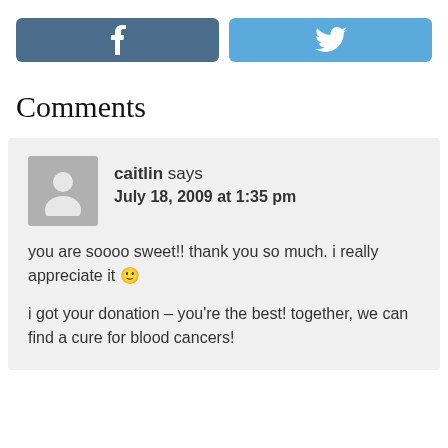[Figure (other): Facebook and Twitter social share buttons]
Comments
caitlin says
July 18, 2009 at 1:35 pm

you are soooo sweet!! thank you so much. i really appreciate it 🙂

i got your donation – you're the best! together, we can find a cure for blood cancers!